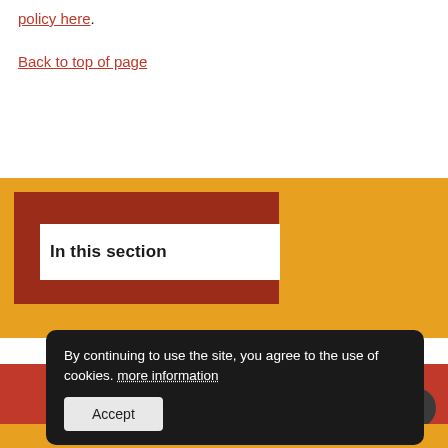policy here.
Back to top of page
In this section
Be part of the story
By continuing to use the site, you agree to the use of cookies. more information
Accept